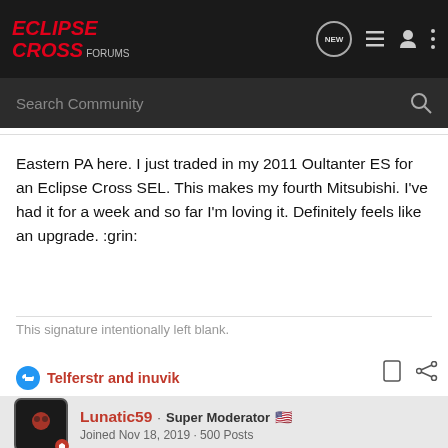ECLIPSE CROSS FORUMS
Search Community
Eastern PA here. I just traded in my 2011 Oultanter ES for an Eclipse Cross SEL. This makes my fourth Mitsubishi. I've had it for a week and so far I'm loving it. Definitely feels like an upgrade. :grin:
This signature intentionally left blank.
Telferstr and inuvik
Lunatic59 · Super Moderator
Joined Nov 18, 2019 · 500 Posts